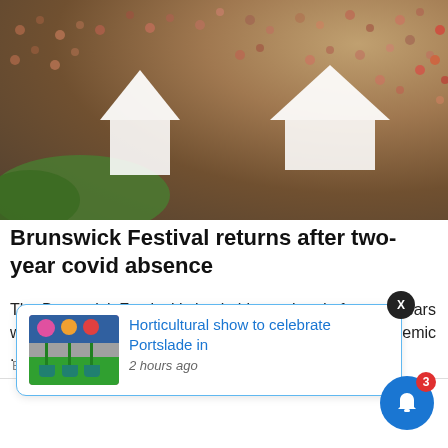[Figure (photo): Aerial view of a crowded outdoor festival with white popup tents and many attendees]
Brunswick Festival returns after two-year covid absence
The Brunswick Festival is back this weekend after two years when it was cancelled because of the coronavirus pandemic ...
Brighton & Hove News
[Figure (screenshot): Notification popup showing 'Horticultural show to celebrate Portslade in' with thumbnail of flower display, time '2 hours ago', close X button, and blue bell notification button with badge showing 3]